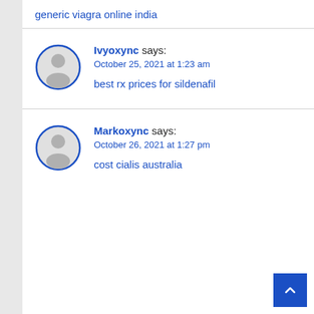generic viagra online india
Ivyoxync says:
October 25, 2021 at 1:23 am

best rx prices for sildenafil
Markoxync says:
October 26, 2021 at 1:27 pm

cost cialis australia